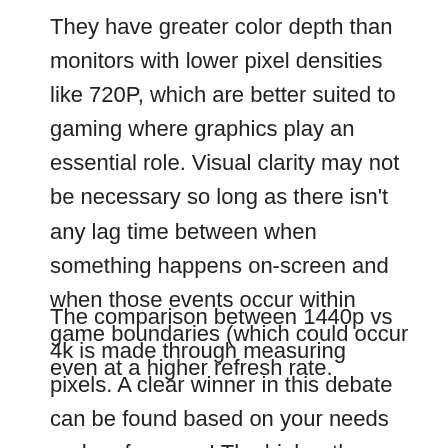They have greater color depth than monitors with lower pixel densities like 720P, which are better suited to gaming where graphics play an essential role. Visual clarity may not be necessary so long as there isn't any lag time between when something happens on-screen and when those events occur within game boundaries (which could occur even at a higher refresh rate.
The comparison between 1440p vs 4k is made through measuring pixels. A clear winner in this debate can be found based on your needs and preferences! The higher the resolution, the more apparent it will look; however, do not let that